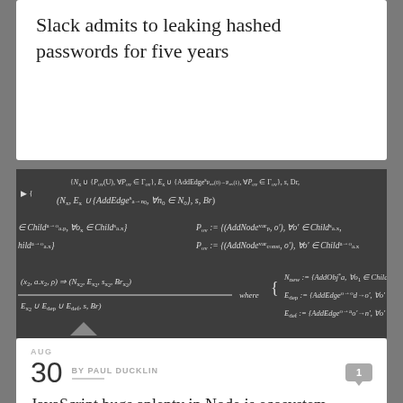Slack admits to leaking hashed passwords for five years
AUG
30  BY PAUL DUCKLIN
JavaScript bugs aplenty in Node.js ecosystem – found automatically